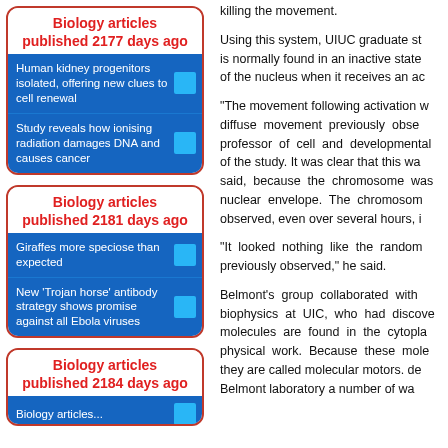Biology articles published 2177 days ago
Human kidney progenitors isolated, offering new clues to cell renewal
Study reveals how ionising radiation damages DNA and causes cancer
Biology articles published 2181 days ago
Giraffes more speciose than expected
New 'Trojan horse' antibody strategy shows promise against all Ebola viruses
Biology articles published 2184 days ago
killing the movement.
Using this system, UIUC graduate st is normally found in an inactive state of the nucleus when it receives an ac
"The movement following activation w diffuse movement previously obse professor of cell and developmental of the study. It was clear that this wa said, because the chromosome was nuclear envelope. The chromosom observed, even over several hours, i
"It looked nothing like the random previously observed," he said.
Belmont's group collaborated with biophysics at UIC, who had discove molecules are found in the cytopla physical work. Because these mole they are called molecular motors. de Belmont laboratory a number of wa